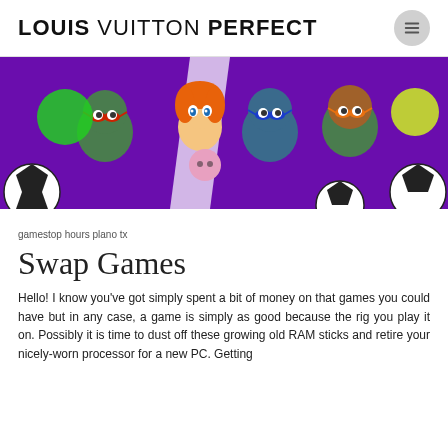LOUIS VUITTON PERFECT
[Figure (illustration): Cartoon illustration of Teenage Mutant Ninja Turtles characters and a girl with orange hair on a purple background with soccer balls]
gamestop hours plano tx
Swap Games
Hello! I know you've got simply spent a bit of money on that games you could have but in any case, a game is simply as good because the rig you play it on. Possibly it is time to dust off these growing old RAM sticks and retire your nicely-worn processor for a new PC. Getting